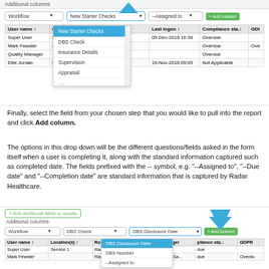[Figure (screenshot): UI screenshot showing Additional columns section with dropdown listing New Starter Checks, DBS Check, Insurance Details, Supervision, Appraisal options, and a table with User name, Location(s), Last logon, Compliance sta., GDR columns]
Finally, select the field from your chosen step that you would like to pull into the report and click Add column.
The options in this drop down will be the different questions/fields asked in the form itself when a user is completing it, along with the standard information captured such as completed date. The fields prefixed with the -- symbol, e.g. "--Assigned to", "--Due date" and "--Completion date" are standard information that is captured by Radar Healthcare.
[Figure (screenshot): UI screenshot showing Additional columns section with DBS Check selected, dropdown showing DBS Disclosure Date, DBS Number, --Assigned to options, and a table with User name, Location(s), Role(s), Line manager, pliance sta., GDPR columns]